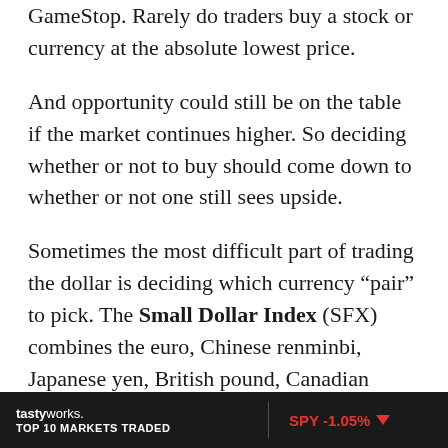GameStop. Rarely do traders buy a stock or currency at the absolute lowest price.
And opportunity could still be on the table if the market continues higher. So deciding whether or not to buy should come down to whether or not one still sees upside.
Sometimes the most difficult part of trading the dollar is deciding which currency “pair” to pick. The Small Dollar Index (SFX) combines the euro, Chinese renminbi, Japanese yen, British pound, Canadian dollar, Australian dollar and Mexican
tastyworks. TOP 10 MARKETS TRADED | SPY -1.05%